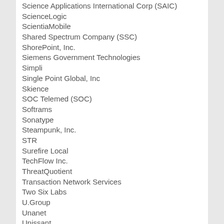Science Applications International Corp (SAIC)
ScienceLogic
ScientiaMobile
Shared Spectrum Company (SSC)
ShorePoint, Inc.
Siemens Government Technologies
Simpli
Single Point Global, Inc
Skience
SOC Telemed (SOC)
Softrams
Sonatype
Steampunk, Inc.
STR
Surefire Local
TechFlow Inc.
ThreatQuotient
Transaction Network Services
Two Six Labs
U.Group
Unanet
Unissant
Urgently
Virtru